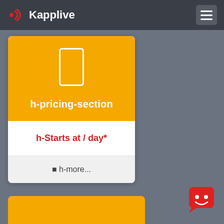Kapplive
h-pricing-section
h-Starts at / day*
☰ h-more...
[Figure (screenshot): Kapplive website screenshot showing a pricing section card with yellow header containing a phone icon placeholder, the label 'h-pricing-section', a pricing row 'h-Starts at / day*' in red, and a 'h-more...' link in gray. A red chat widget appears bottom right. The background is a muted gray.]